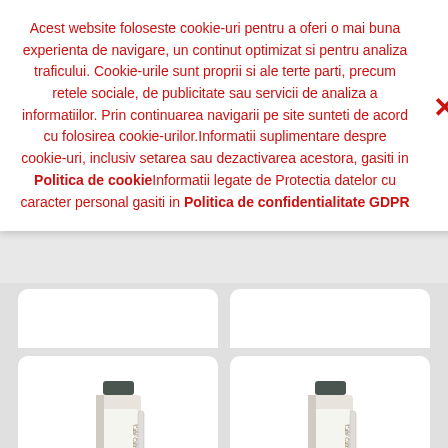Acest website foloseste cookie-uri pentru a oferi o mai buna experienta de navigare, un continut optimizat si pentru analiza traficului. Cookie-urile sunt proprii si ale terte parti, precum retele sociale, de publicitate sau servicii de analiza a informatiilor. Prin continuarea navigarii pe site sunteti de acord cu folosirea cookie-urilor.Informatii suplimentare despre cookie-uri, inclusiv setarea sau dezactivarea acestora, gasiti in Politica de cookieInformatii legate de Protectia datelor cu caracter personal gasiti in Politica de confidentialitate GDPR
[Figure (photo): Cafe Cult premium quality product bottle - left card]
[Figure (photo): Cafe Cult premium quality product bottle - right card]